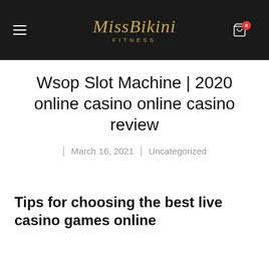MissBikini FITNESS
Wsop Slot Machine | 2020 online casino online casino review
| March 16, 2021 | Uncategorized
Tips for choosing the best live casino games online